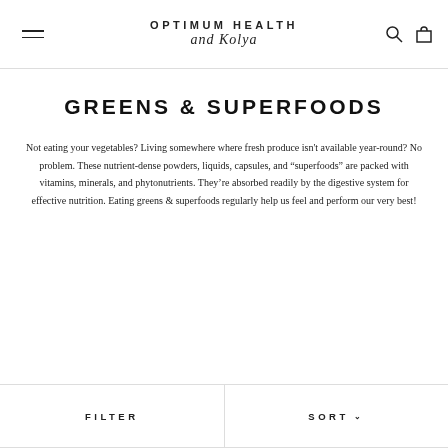OPTIMUM HEALTH and Kolya
GREENS & SUPERFOODS
Not eating your vegetables? Living somewhere where fresh produce isn't available year-round? No problem. These nutrient-dense powders, liquids, capsules, and "superfoods" are packed with vitamins, minerals, and phytonutrients. They're absorbed readily by the digestive system for effective nutrition. Eating greens & superfoods regularly help us feel and perform our very best!
FILTER   SORT